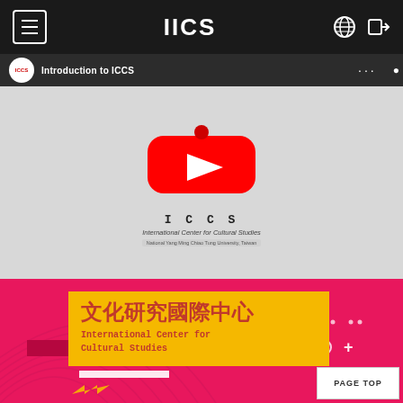IICS
[Figure (screenshot): YouTube video thumbnail for 'Introduction to ICCS' showing ICCS logo — International Center for Cultural Studies, National Yang Ming Chiao Tung University, Taiwan — with YouTube play button overlay on gray background]
[Figure (illustration): Pink/magenta banner with decorative concentric arc patterns, yellow box containing Chinese text '文化研究國際中心' and English text 'International Center for Cultural Studies', decorative geometric elements (circles, plus sign, dots, red bar), and a white horizontal bar. Bottom right shows 'PAGE TOP' button.]